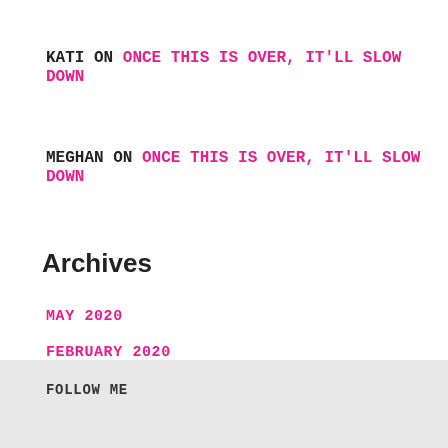KATI ON ONCE THIS IS OVER, IT'LL SLOW DOWN
MEGHAN ON ONCE THIS IS OVER, IT'LL SLOW DOWN
Archives
MAY 2020
FEBRUARY 2020
FOLLOW ME